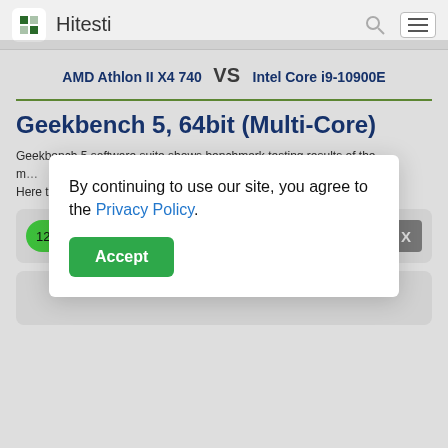Hitesti
AMD Athlon II X4 740 VS Intel Core i9-10900E
Geekbench 5, 64bit (Multi-Core)
Geekbench 5 software suite shows benchmark testing results of the m... or. Here t...
By continuing to use our site, you agree to the Privacy Policy.
1263 (100 %)